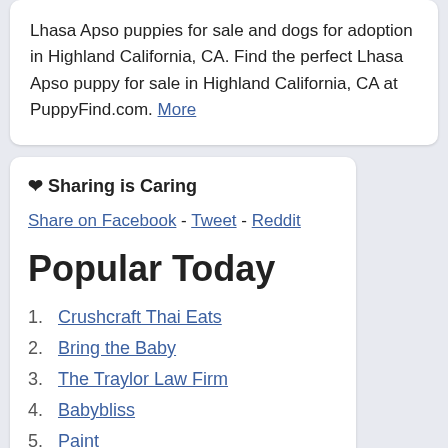Lhasa Apso puppies for sale and dogs for adoption in Highland California, CA. Find the perfect Lhasa Apso puppy for sale in Highland California, CA at PuppyFind.com. More
❤ Sharing is Caring
Share on Facebook - Tweet - Reddit
Popular Today
Crushcraft Thai Eats
Bring the Baby
The Traylor Law Firm
Babybliss
Paint
Officiants
Public Markets